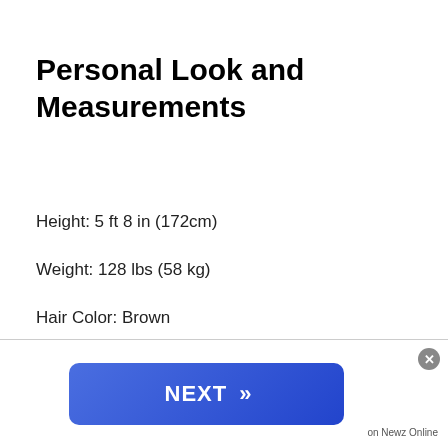Personal Look and Measurements
Height: 5 ft 8 in (172cm)
Weight: 128 lbs (58 kg)
Hair Color: Brown
Eye color: Blue
[Figure (other): Advertisement banner with blue gradient button labeled NEXT with chevrons, and a close button. Attribution: on Newz Online]